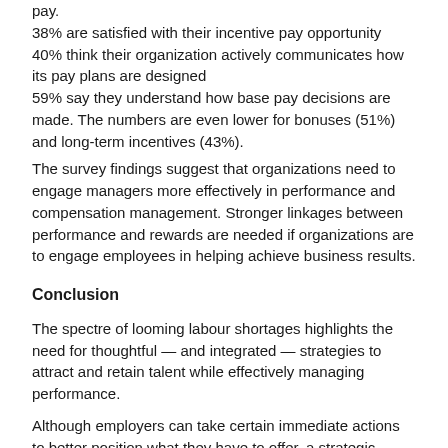pay.
38% are satisfied with their incentive pay opportunity
40% think their organization actively communicates how its pay plans are designed
59% say they understand how base pay decisions are made. The numbers are even lower for bonuses (51%) and long-term incentives (43%).
The survey findings suggest that organizations need to engage managers more effectively in performance and compensation management. Stronger linkages between performance and rewards are needed if organizations are to engage employees in helping achieve business results.
Conclusion
The spectre of looming labour shortages highlights the need for thoughtful — and integrated — strategies to attract and retain talent while effectively managing performance.
Although employers can take certain immediate actions to better position what they have to offer, a strategic response to shifting demographics and a tightening labour market will demand longer-term systemic changes as well.
Employers will need to balance short-term actions, such as off-